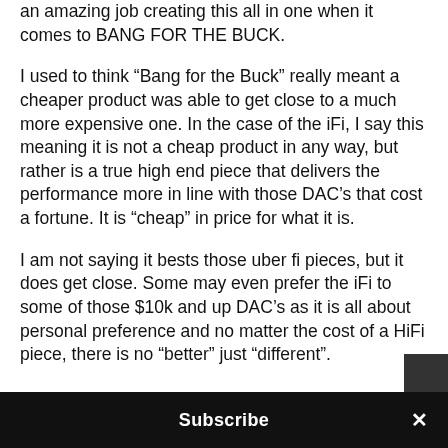an amazing job creating this all in one when it comes to BANG FOR THE BUCK.
I used to think “Bang for the Buck” really meant a cheaper product was able to get close to a much more expensive one. In the case of the iFi, I say this meaning it is not a cheap product in any way, but rather is a true high end piece that delivers the performance more in line with those DAC’s that cost a fortune. It is “cheap” in price for what it is.
I am not saying it bests those uber fi pieces, but it does get close. Some may even prefer the iFi to some of those $10k and up DAC’s as it is all about personal preference and no matter the cost of a HiFi piece, there is no “better” just “different”.
Subscribe ×